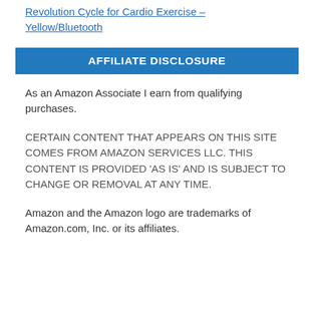Revolution Cycle for Cardio Exercise – Yellow/Bluetooth
AFFILIATE DISCLOSURE
As an Amazon Associate I earn from qualifying purchases.
CERTAIN CONTENT THAT APPEARS ON THIS SITE COMES FROM AMAZON SERVICES LLC. THIS CONTENT IS PROVIDED 'AS IS' AND IS SUBJECT TO CHANGE OR REMOVAL AT ANY TIME.
Amazon and the Amazon logo are trademarks of Amazon.com, Inc. or its affiliates.